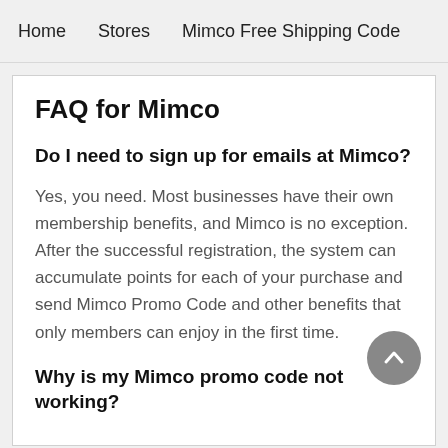Home   Stores   Mimco Free Shipping Code
FAQ for Mimco
Do I need to sign up for emails at Mimco?
Yes, you need. Most businesses have their own membership benefits, and Mimco is no exception. After the successful registration, the system can accumulate points for each of your purchase and send Mimco Promo Code and other benefits that only members can enjoy in the first time.
Why is my Mimco promo code not working?